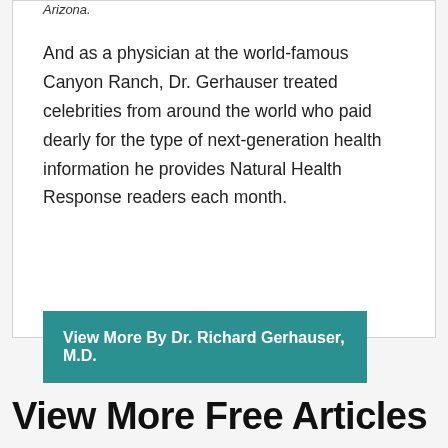Arizona.
And as a physician at the world-famous Canyon Ranch, Dr. Gerhauser treated celebrities from around the world who paid dearly for the type of next-generation health information he provides Natural Health Response readers each month.
View More By Dr. Richard Gerhauser, M.D.
View More Free Articles